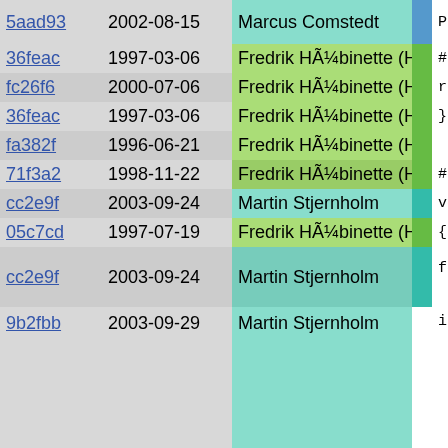| hash | date | author |  | code |
| --- | --- | --- | --- | --- |
| 5aad93 | 2002-08-15 | Marcus Comstedt | | | Pike_T |
| 36feac | 1997-03-06 | Fredrik HÃ¼binette (Hubbe) | | | #endif |
| fc26f6 | 2000-07-06 | Fredrik HÃ¼binette (Hubbe) | | | return P |
| 36feac | 1997-03-06 | Fredrik HÃ¼binette (Hubbe) | | | } |
| fa382f | 1996-06-21 | Fredrik HÃ¼binette (Hubbe) | | |  |
| 71f3a2 | 1998-11-22 | Fredrik HÃ¼binette (Hubbe) | | | #ifdef PIK |
| cc2e9f | 2003-09-24 | Martin Stjernholm | | | void gc_ma |
| 05c7cd | 1997-07-19 | Fredrik HÃ¼binette (Hubbe) | | | { |
| cc2e9f | 2003-09-24 | Martin Stjernholm | | | for (; f
    GC_ENT |
| 9b2fbb | 2003-09-29 | Martin Stjernholm | | | if (
    if

  gc
  gc
  if |